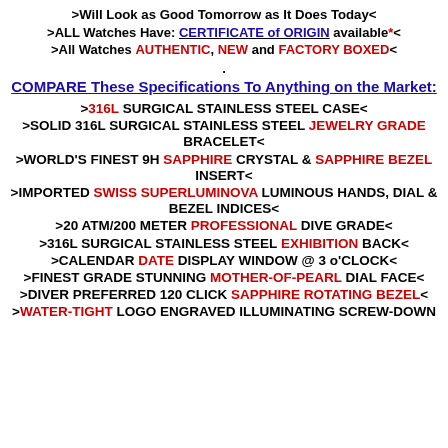>Will Look as Good Tomorrow as It Does Today<
>ALL Watches Have: CERTIFICATE of ORIGIN available*<
>All Watches AUTHENTIC, NEW and FACTORY BOXED<
.
COMPARE These Specifications To Anything on the Market:
>316L SURGICAL STAINLESS STEEL CASE<
>SOLID 316L SURGICAL STAINLESS STEEL JEWELRY GRADE BRACELET<
>WORLD'S FINEST 9H SAPPHIRE CRYSTAL & SAPPHIRE BEZEL INSERT<
>IMPORTED SWISS SUPERLUMINOVA LUMINOUS HANDS, DIAL & BEZEL INDICES<
>20 ATM/200 METER PROFESSIONAL DIVE GRADE<
>316L SURGICAL STAINLESS STEEL EXHIBITION BACK<
>CALENDAR DATE DISPLAY WINDOW @ 3 o'CLOCK<
>FINEST GRADE STUNNING MOTHER-OF-PEARL DIAL FACE<
>DIVER PREFERRED 120 CLICK SAPPHIRE ROTATING BEZEL<
>WATER-TIGHT LOGO ENGRAVED ILLUMINATING SCREW-DOWN